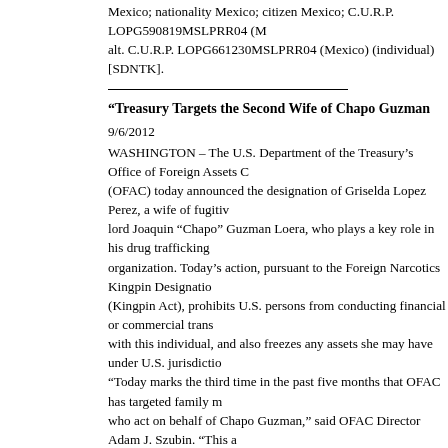Mexico; nationality Mexico; citizen Mexico; C.U.R.P. LOPG590819MSLPRR04 (Mexico); alt. C.U.R.P. LOPG661230MSLPRR04 (Mexico) (individual) [SDNTK].
"Treasury Targets the Second Wife of Chapo Guzman
9/6/2012
WASHINGTON – The U.S. Department of the Treasury's Office of Foreign Assets Control (OFAC) today announced the designation of Griselda Lopez Perez, a wife of fugitive drug lord Joaquin "Chapo" Guzman Loera, who plays a key role in his drug trafficking organization. Today's action, pursuant to the Foreign Narcotics Kingpin Designation Act (Kingpin Act), prohibits U.S. persons from conducting financial or commercial transactions with this individual, and also freezes any assets she may have under U.S. jurisdiction. "Today marks the third time in the past five months that OFAC has targeted family members who act on behalf of Chapo Guzman," said OFAC Director Adam J. Szubin. "This action builds on Treasury's aggressive efforts, alongside its law enforcement partners, to target individuals who facilitate Chapo Guzman's drug trafficking operations."
"DEA and its partners are attacking Chapo Guzman's drug trafficking operations at every level, using the law enforcement tools available to bring these criminals to justice," said Chief of Financial Operations John Arvanitis. "This is another strike against the brutal Sinaloa Cartel and Chapo's wife, who has served as a major criminal facilitator on his behalf."
OFAC is designating Griselda Lopez Perez for her role in the operations of Guzman Loera's drug trafficking organization, including her efforts to assist Guzman Loera in evading. Additionally, Griselda Lopez Perez provides material support to the drug trafficking of her husband. Guzman Loera was identified by the President as a significant fore...